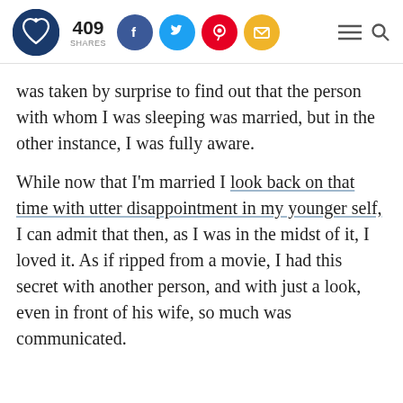409 SHARES [social icons: Facebook, Twitter, Pinterest, Email] [hamburger menu] [search]
was taken by surprise to find out that the person with whom I was sleeping was married, but in the other instance, I was fully aware.
While now that I'm married I look back on that time with utter disappointment in my younger self, I can admit that then, as I was in the midst of it, I loved it. As if ripped from a movie, I had this secret with another person, and with just a look, even in front of his wife, so much was communicated.